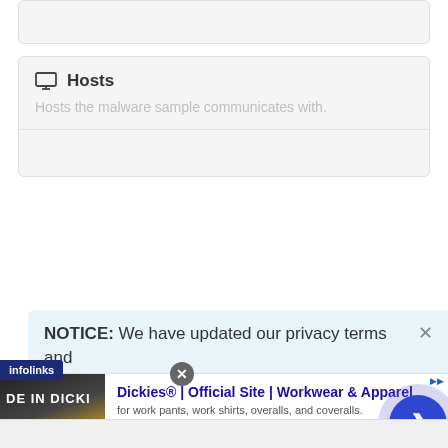[Figure (screenshot): Partial top card UI element, gray background, cut off at top]
Hosts
Hosts the malware sample communicates with.
NOTICE: We have updated our privacy terms and
[Figure (screenshot): Advertisement overlay: Infolinks label, Dickies Official Site ad with image, title, subtitle, URL, close button, and circular arrow button]
Dickies® | Official Site | Workwear & Apparel
for work pants, work shirts, overalls, and coveralls.
www.dickies.com